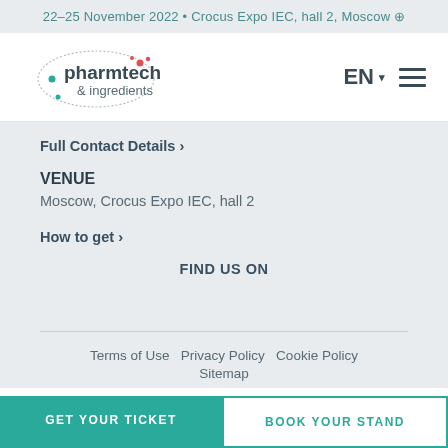22–25 November 2022 • Crocus Expo IEC, hall 2, Moscow
[Figure (logo): Pharmtech & Ingredients logo with ellipse of dots and text]
Full Contact Details >
VENUE
Moscow, Crocus Expo IEC, hall 2
How to get >
FIND US ON
Terms of Use  Privacy Policy  Cookie Policy  Sitemap
GET YOUR TICKET
BOOK YOUR STAND